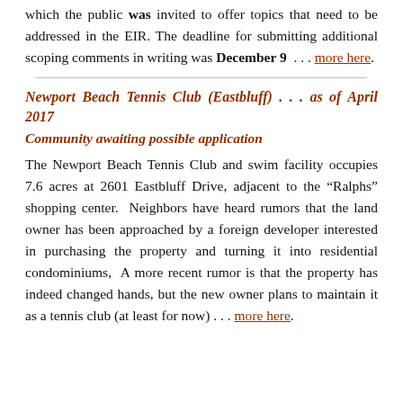which the public was invited to offer topics that need to be addressed in the EIR. The deadline for submitting additional scoping comments in writing was December 9 . . . more here.
Newport Beach Tennis Club (Eastbluff) . . . as of April 2017
Community awaiting possible application
The Newport Beach Tennis Club and swim facility occupies 7.6 acres at 2601 Eastbluff Drive, adjacent to the “Ralphs” shopping center. Neighbors have heard rumors that the land owner has been approached by a foreign developer interested in purchasing the property and turning it into residential condominiums, A more recent rumor is that the property has indeed changed hands, but the new owner plans to maintain it as a tennis club (at least for now) . . . more here.